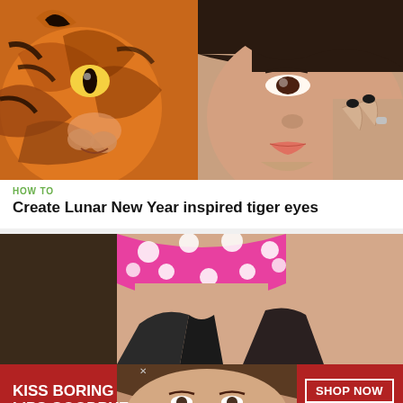[Figure (photo): Close-up photo of a woman with tiger eye makeup next to a tiger illustration]
HOW TO
Create Lunar New Year inspired tiger eyes
[Figure (photo): Woman in a pink polka dot bikini top, midriff showing]
[Figure (photo): Advertisement banner: KISS BORING LIPS GOODBYE with woman wearing red lipstick, SHOP NOW, Macy's star logo]